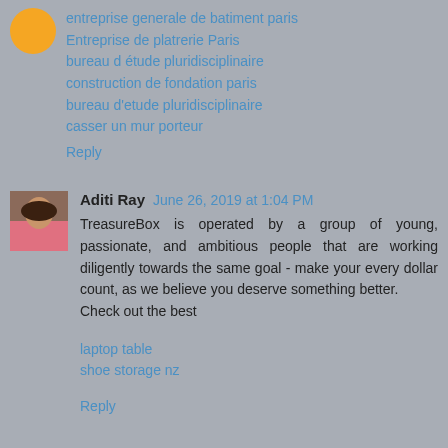entreprise generale de batiment paris
Entreprise de platrerie Paris
bureau d étude pluridisciplinaire
construction de fondation paris
bureau d'etude pluridisciplinaire
casser un mur porteur
Reply
[Figure (photo): Profile photo of Aditi Ray, a woman in a pink top]
Aditi Ray  June 26, 2019 at 1:04 PM
TreasureBox is operated by a group of young, passionate, and ambitious people that are working diligently towards the same goal - make your every dollar count, as we believe you deserve something better.
Check out the best
laptop table
shoe storage nz
Reply